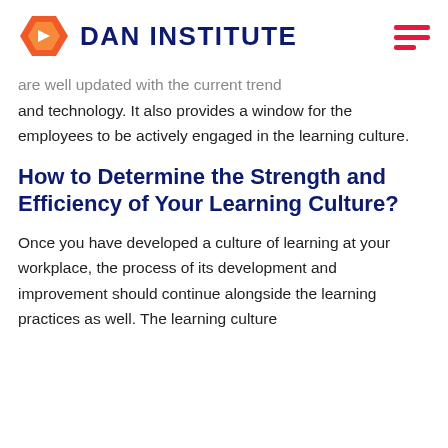DAN INSTITUTE
are well updated with the current trend and technology. It also provides a window for the employees to be actively engaged in the learning culture.
How to Determine the Strength and Efficiency of Your Learning Culture?
Once you have developed a culture of learning at your workplace, the process of its development and improvement should continue alongside the learning practices as well. The learning culture